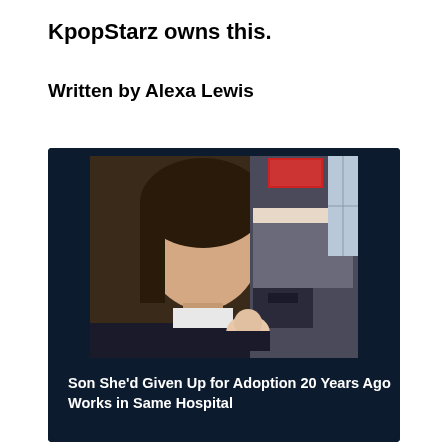KpopStarz owns this.
Written by Alexa Lewis
[Figure (photo): A young woman holding a newborn baby in a hospital room setting. The photo appears to be from approximately 20 years ago. The woman has dark hair and is looking at the camera. A hospital bed and medical equipment are visible in the background.]
Son She'd Given Up for Adoption 20 Years Ago Works in Same Hospital